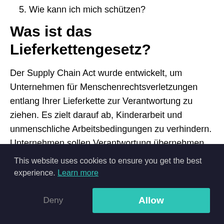5. Wie kann ich mich schützen?
Was ist das Lieferkettengesetz?
Der Supply Chain Act wurde entwickelt, um Unternehmen für Menschenrechtsverletzungen entlang Ihrer Lieferkette zur Verantwortung zu ziehen. Es zielt darauf ab, Kinderarbeit und unmenschliche Arbeitsbedingungen zu verhindern. Unternehmen sollen Verantwortung übernehmen und Standards in [ren, en (text partially hidden by cookie banner)]
This website uses cookies to ensure you get the best experience. Learn more
Deny | Allow